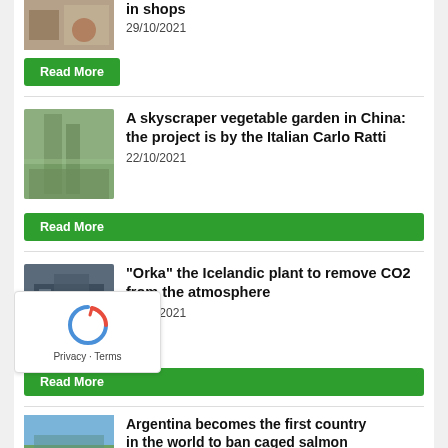[Figure (photo): Thumbnail image of a shop interior, partially visible at top]
in shops
29/10/2021
Read More
[Figure (photo): Thumbnail of a skyscraper vegetable garden building]
A skyscraper vegetable garden in China: the project is by the Italian Carlo Ratti
22/10/2021
Read More
[Figure (photo): Thumbnail of the Orka Icelandic CO2 removal plant, a large industrial building]
"Orka" the Icelandic plant to remove CO2 from the atmosphere
14/10/2021
Read More
[Figure (photo): Thumbnail of Argentine landscape, partially visible]
Argentina becomes the first country in the world to ban caged salmon